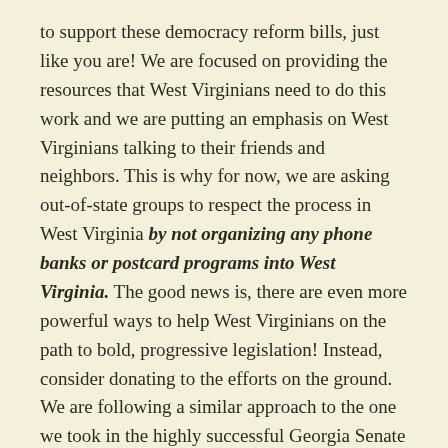to support these democracy reform bills, just like you are! We are focused on providing the resources that West Virginians need to do this work and we are putting an emphasis on West Virginians talking to their friends and neighbors. This is why for now, we are asking out-of-state groups to respect the process in West Virginia by not organizing any phone banks or postcard programs into West Virginia. The good news is, there are even more powerful ways to help West Virginians on the path to bold, progressive legislation! Instead, consider donating to the efforts on the ground. We are following a similar approach to the one we took in the highly successful Georgia Senate Runoff.
Rather than spending time and money on postcards, consider donating to one of these amazing organizations on the ground in West Virginia: